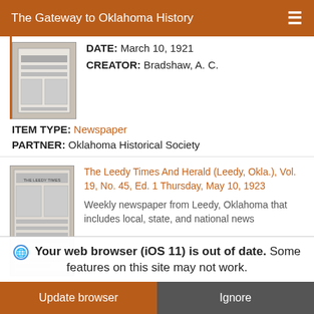The Gateway to Oklahoma History
DATE: March 10, 1921
CREATOR: Bradshaw, A. C.
ITEM TYPE: Newspaper
PARTNER: Oklahoma Historical Society
The Leedy Times And Herald (Leedy, Okla.), Vol. 19, No. 45, Ed. 1 Thursday, May 10, 1923
Weekly newspaper from Leedy, Oklahoma that includes local, state, and national news...
Your web browser (iOS 11) is out of date. Some features on this site may not work.
Update browser | Ignore